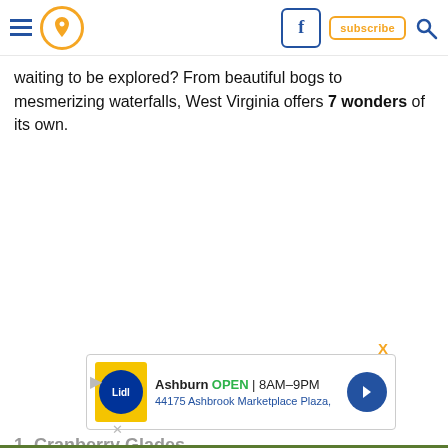Navigation header with hamburger menu, pin/location icon, Facebook button, Subscribe button, Search icon
waiting to be explored? From beautiful bogs to mesmerizing waterfalls, West Virginia offers 7 wonders of its own.
[Figure (other): Advertisement banner: Ashburn OPEN 8AM-9PM, 44175 Ashbrook Marketplace Plaza, with Lidl logo and navigation arrow icon]
1. Cranberry Glades
[Figure (photo): Partial bottom image showing green trees/foliage, beginning of Cranberry Glades photo]